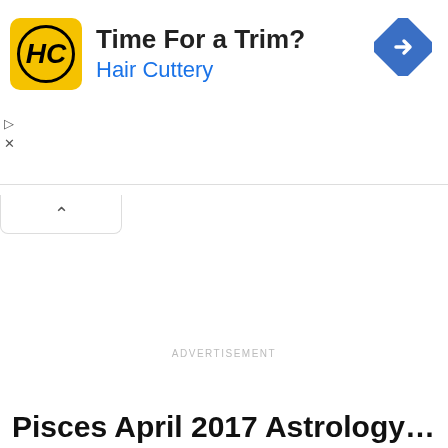[Figure (screenshot): Advertisement banner for Hair Cuttery with yellow HC logo, headline 'Time For a Trim?', brand name 'Hair Cuttery' in blue, and a blue navigation diamond icon on the right.]
ADVERTISEMENT
Pisces April 2017 Astrology Forecasts